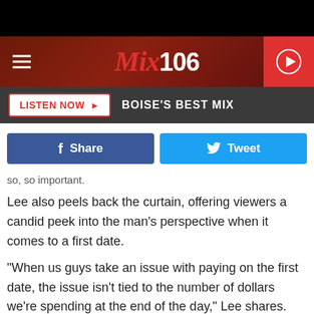[Figure (screenshot): Mix 106 radio station website header with dark red textured background, hamburger menu icon on left, Mix 106 logo in center, red play button on right]
[Figure (screenshot): Dark grey listen bar with LISTEN NOW button in red/white and BOISE'S BEST MIX text in white]
[Figure (screenshot): Social sharing buttons row: blue Facebook Share button and light blue Twitter Tweet button]
so, so important.
Lee also peels back the curtain, offering viewers a candid peek into the man's perspective when it comes to a first date.
"When us guys take an issue with paying on the first date, the issue isn't tied to the number of dollars we're spending at the end of the day," Lee shares. "And if it is, respectfully, you need to go get a job."